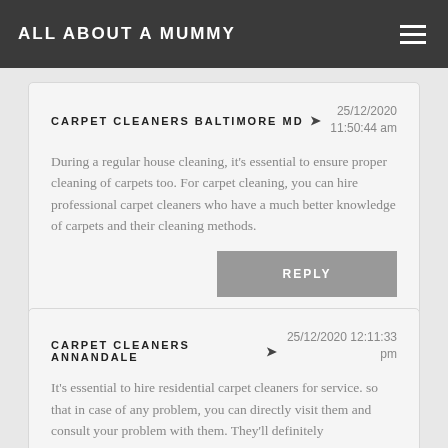ALL ABOUT A MUMMY
CARPET CLEANERS BALTIMORE MD
25/12/2020 11:50:44 am
During a regular house cleaning, it's essential to ensure proper cleaning of carpets too. For carpet cleaning, you can hire professional carpet cleaners who have a much better knowledge of carpets and their cleaning methods.
CARPET CLEANERS ANNANDALE
25/12/2020 12:11:33 pm
It's essential to hire residential carpet cleaners for service. so that in case of any problem, you can directly visit them and consult your problem with them. They'll definitely